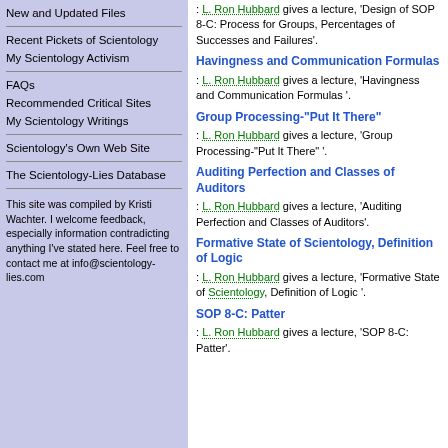New and Updated Files
Recent Pickets of Scientology
My Scientology Activism
FAQs
Recommended Critical Sites
My Scientology Writings
Scientology's Own Web Site
The Scientology-Lies Database
This site was compiled by Kristi Wachter. I welcome feedback, especially information contradicting anything I've stated here. Feel free to contact me at info@scientology-lies.com
: L. Ron Hubbard gives a lecture, 'Design of SOP 8-C: Process for Groups, Percentages of Successes and Failures'.
Havingness and Communication Formulas
: L. Ron Hubbard gives a lecture, 'Havingness and Communication Formulas '.
Group Processing-"Put It There"
: L. Ron Hubbard gives a lecture, 'Group Processing-"Put It There" '.
Auditing Perfection and Classes of Auditors
: L. Ron Hubbard gives a lecture, 'Auditing Perfection and Classes of Auditors'.
Formative State of Scientology, Definition of Logic
: L. Ron Hubbard gives a lecture, 'Formative State of Scientology, Definition of Logic '.
SOP 8-C: Patter
: L. Ron Hubbard gives a lecture, 'SOP 8-C: Patter'.